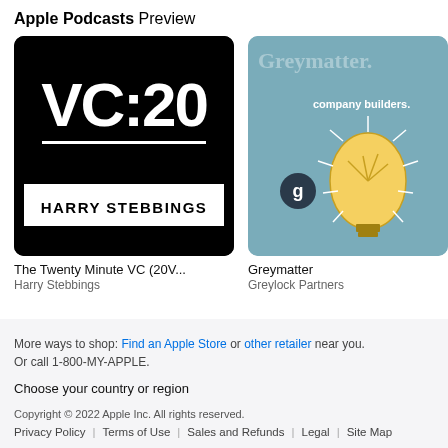Apple Podcasts Preview
[Figure (screenshot): Podcast artwork for 'The Twenty Minute VC (20V...)' by Harry Stebbings — black background with large white 'VC:20' text and 'HARRY STEBBINGS' banner at bottom]
The Twenty Minute VC (20V...
Harry Stebbings
[Figure (screenshot): Podcast artwork for 'Greymatter' by Greylock Partners — teal/blue background with illustrated light bulb and 'company builders.' text and 'g' logo circle]
Greymatter
Greylock Partners
a16...
And...
More ways to shop: Find an Apple Store or other retailer near you. Or call 1-800-MY-APPLE.
Choose your country or region
Copyright © 2022 Apple Inc. All rights reserved.
Privacy Policy | Terms of Use | Sales and Refunds | Legal | Site Map